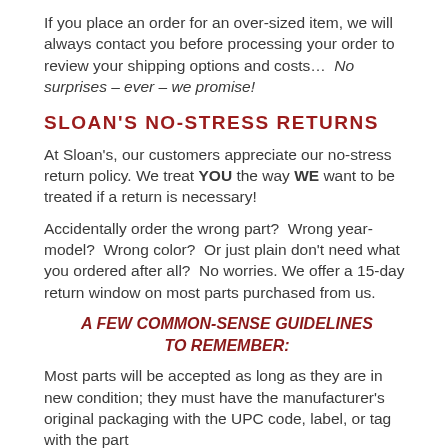If you place an order for an over-sized item, we will always contact you before processing your order to review your shipping options and costs…  No surprises – ever – we promise!
SLOAN'S NO-STRESS RETURNS
At Sloan's, our customers appreciate our no-stress return policy. We treat YOU the way WE want to be treated if a return is necessary!
Accidentally order the wrong part?  Wrong year-model?  Wrong color?  Or just plain don't need what you ordered after all?  No worries. We offer a 15-day return window on most parts purchased from us.
A FEW COMMON-SENSE GUIDELINES TO REMEMBER:
Most parts will be accepted as long as they are in new condition; they must have the manufacturer's original packaging with the UPC code, label, or tag with the part